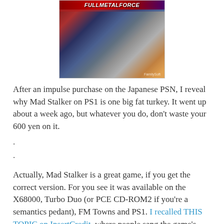[Figure (photo): Game cover art for Full Metal Force / Mad Stalker showing mecha robots with red and blue armor on a dark background, with 'FULLMETALFORCE' text at top]
After an impulse purchase on the Japanese PSN, I reveal why Mad Stalker on PS1 is one big fat turkey. It went up about a week ago, but whatever you do, don't waste your 600 yen on it.
.
.
Actually, Mad Stalker is a great game, if you get the correct version. For you see it was available on the X68000, Turbo Duo (or PCE CD-ROM2 if you're a semantics pedant), FM Towns and PS1. I recalled THIS TOPIC on InsertCredit, where people sang the game's praises and after which I dabbled in emulating the Duo version. What I forgot was the description of the PS1 game, which said it was a complete